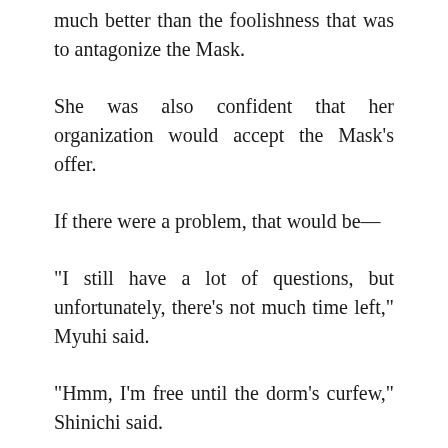Accepting would limit their movements, yes, but it was much better than the foolishness that was to antagonize the Mask.
She was also confident that her organization would accept the Mask's offer.
If there were a problem, that would be—
“I still have a lot of questions, but unfortunately, there’s not much time left,” Myuhi said.
“Hmm, I’m free until the dorm’s curfew,” Shinichi said.
“My people will finish organizing a rescue squad before then.”
—The need to quickly wrap up their discussion and